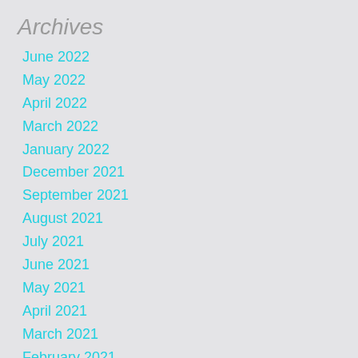Archives
June 2022
May 2022
April 2022
March 2022
January 2022
December 2021
September 2021
August 2021
July 2021
June 2021
May 2021
April 2021
March 2021
February 2021
January 2021
December 2020
November 2020